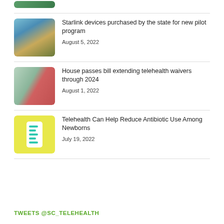[Figure (photo): Partial thumbnail of a nature/landscape image visible at the top]
[Figure (photo): Thumbnail showing a Starlink satellite dish against a sky backdrop]
Starlink devices purchased by the state for new pilot program
August 5, 2022
[Figure (photo): Thumbnail of an elderly person using a tablet for telehealth]
House passes bill extending telehealth waivers through 2024
August 1, 2022
[Figure (illustration): Thumbnail with yellow background showing a smartphone with chat bubbles]
Telehealth Can Help Reduce Antibiotic Use Among Newborns
July 19, 2022
TWEETS @SC_TELEHEALTH